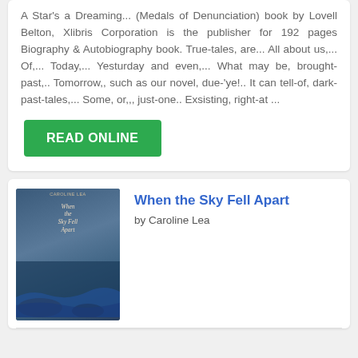A Star's a Dreaming... (Medals of Denunciation) book by Lovell Belton, Xlibris Corporation is the publisher for 192 pages Biography & Autobiography book. True-tales, are... All about us,... Of,... Today,... Yesturday and even,... What may be, brought-past,.. Tomorrow,, such as our novel, due-'ye!.. It can tell-of, dark-past-tales,... Some, or,,, just-one.. Exsisting, right-at ...
READ ONLINE
[Figure (illustration): Book cover of 'When the Sky Fell Apart' by Caroline Lea, showing a coastal scene with rocks and sea]
When the Sky Fell Apart
by Caroline Lea